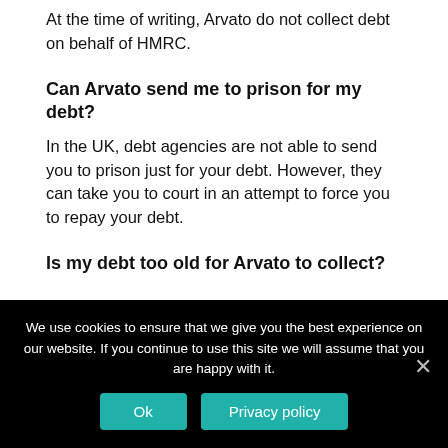At the time of writing, Arvato do not collect debt on behalf of HMRC.
Can Arvato send me to prison for my debt?
In the UK, debt agencies are not able to send you to prison just for your debt. However, they can take you to court in an attempt to force you to repay your debt.
Is my debt too old for Arvato to collect?
We use cookies to ensure that we give you the best experience on our website. If you continue to use this site we will assume that you are happy with it.